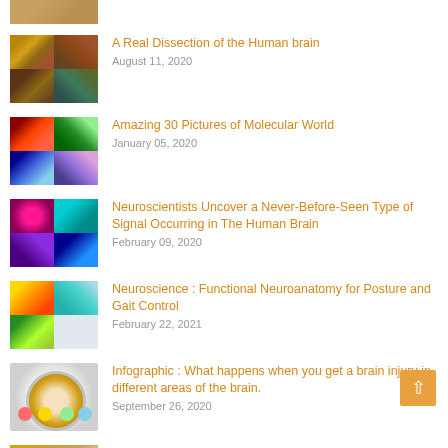[Figure (photo): Partial thumbnail of brain dissection images at top of page]
A Real Dissection of the Human brain
August 11, 2020
Amazing 30 Pictures of Molecular World
January 05, 2020
Neuroscientists Uncover a Never-Before-Seen Type of Signal Occurring in The Human Brain
February 09, 2020
Neuroscience : Functional Neuroanatomy for Posture and Gait Control
February 22, 2021
Infographic : What happens when you get a brain injury in different areas of the brain.
September 26, 2020
How Does the Brain Retain Information?